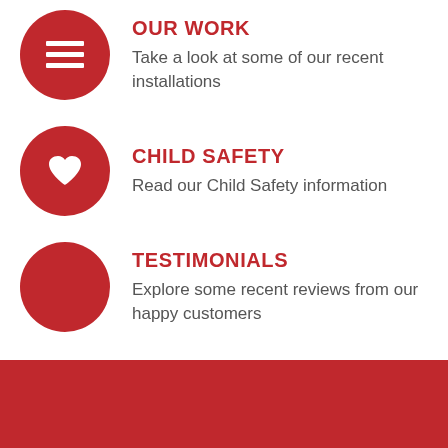OUR WORK
Take a look at some of our recent installations
CHILD SAFETY
Read our Child Safety information
TESTIMONIALS
Explore some recent reviews from our happy customers
[Figure (photo): Red background section with framed image partially visible at bottom]